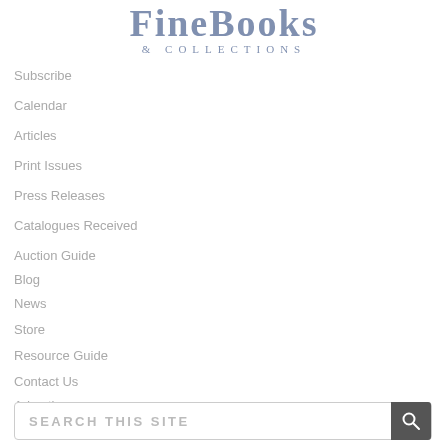FineBooks & Collections
Subscribe
Calendar
Articles
Print Issues
Press Releases
Catalogues Received
Auction Guide
Blog
News
Store
Resource Guide
Contact Us
Advertise
SEARCH THIS SITE